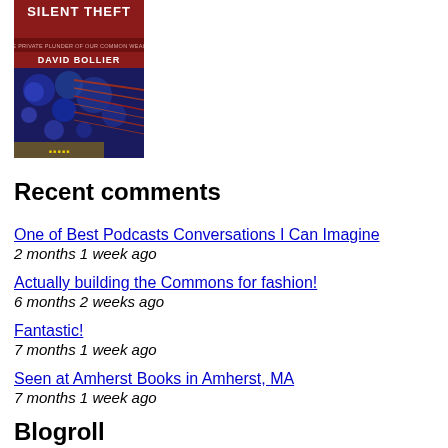[Figure (photo): Book cover of 'Silent Theft: The Private Plunder of Our Common Wealth' by David Bollier, with blue holographic-style imagery]
Recent comments
One of Best Podcasts Conversations I Can Imagine
2 months 1 week ago
Actually building the Commons for fashion!
6 months 2 weeks ago
Fantastic!
7 months 1 week ago
Seen at Amherst Books in Amherst, MA
7 months 1 week ago
Blogroll